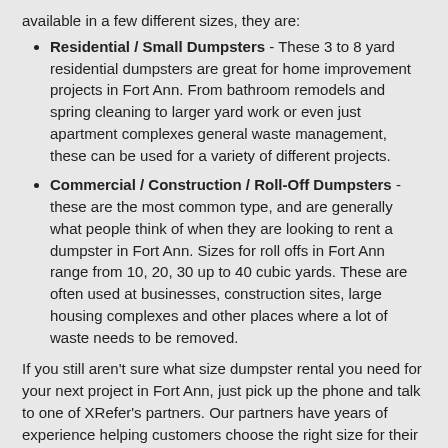available in a few different sizes, they are:
Residential / Small Dumpsters - These 3 to 8 yard residential dumpsters are great for home improvement projects in Fort Ann. From bathroom remodels and spring cleaning to larger yard work or even just apartment complexes general waste management, these can be used for a variety of different projects.
Commercial / Construction / Roll-Off Dumpsters - these are the most common type, and are generally what people think of when they are looking to rent a dumpster in Fort Ann. Sizes for roll offs in Fort Ann range from 10, 20, 30 up to 40 cubic yards. These are often used at businesses, construction sites, large housing complexes and other places where a lot of waste needs to be removed.
If you still aren't sure what size dumpster rental you need for your next project in Fort Ann, just pick up the phone and talk to one of XRefer's partners. Our partners have years of experience helping customers choose the right size for their needs, and they are happy to answer your questions, give you price estimates or help in any other way.
Questions to ask when getting a Fort